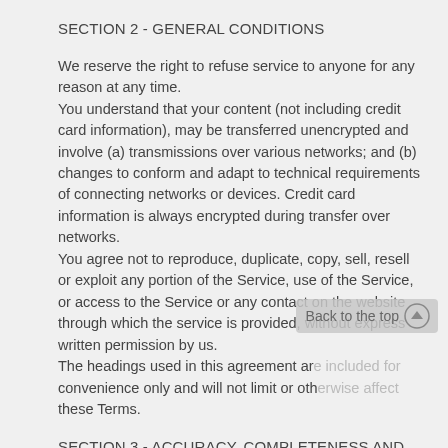SECTION 2 - GENERAL CONDITIONS
We reserve the right to refuse service to anyone for any reason at any time.
You understand that your content (not including credit card information), may be transferred unencrypted and involve (a) transmissions over various networks; and (b) changes to conform and adapt to technical requirements of connecting networks or devices. Credit card information is always encrypted during transfer over networks.
You agree not to reproduce, duplicate, copy, sell, resell or exploit any portion of the Service, use of the Service, or access to the Service or any contact on the website through which the service is provided, without express written permission by us.
The headings used in this agreement are included for convenience only and will not limit or otherwise affect these Terms.
SECTION 3 - ACCURACY, COMPLETENESS AND TIMELINESS OF INFORMATION